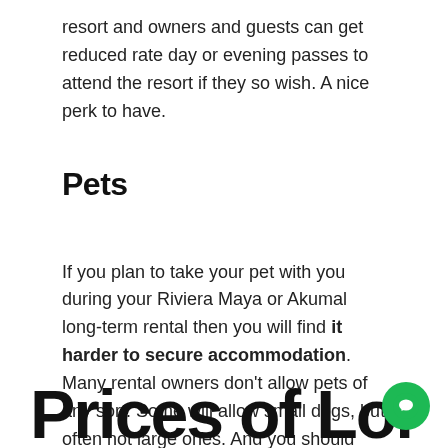resort and owners and guests can get reduced rate day or evening passes to attend the resort if they so wish. A nice perk to have.
Pets
If you plan to take your pet with you during your Riviera Maya or Akumal long-term rental then you will find it harder to secure accommodation. Many rental owners don't allow pets of any sort. Some will allow small dogs, but often not large ones. And you should expect to pay extra, or at least a pet damage deposit.
Prices of Long-Term